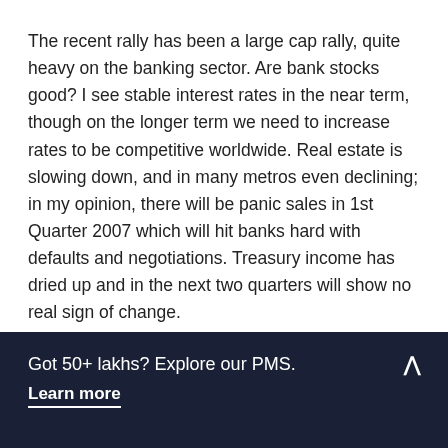The recent rally has been a large cap rally, quite heavy on the banking sector. Are bank stocks good? I see stable interest rates in the near term, though on the longer term we need to increase rates to be competitive worldwide. Real estate is slowing down, and in many metros even declining; in my opinion, there will be panic sales in 1st Quarter 2007 which will hit banks hard with defaults and negotiations. Treasury income has dried up and in the next two quarters will show no real sign of change.
I believe this is a temporary rally. The other heavyweights that have rebounded are oil stocks but not by much. Most of the FMCG counters (HLL, ITC) are overpriced, and so are the real estate plays (Bata, Indiabulls etc.) I think the market is overheated and now the “panic buys” are setting in; people
Got 50+ lakhs? Explore our PMS. Learn more